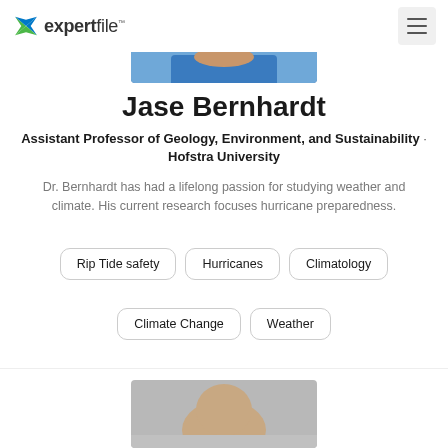expertfile
[Figure (photo): Partial photo of Jase Bernhardt (top crop, showing chin/neck area, blue shirt)]
Jase Bernhardt
Assistant Professor of Geology, Environment, and Sustainability · Hofstra University
Dr. Bernhardt has had a lifelong passion for studying weather and climate. His current research focuses hurricane preparedness.
Rip Tide safety
Hurricanes
Climatology
Climate Change
Weather
[Figure (photo): Partial photo of another expert (bottom crop, showing top of head, gray background)]